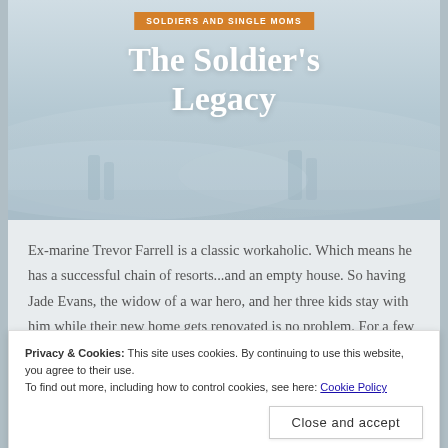[Figure (illustration): Book cover hero image with misty/foggy blue-grey background suggesting a military or coastal scene, with figures in the background]
SOLDIERS AND SINGLE MOMS
The Soldier's Legacy
Ex-marine Trevor Farrell is a classic workaholic. Which means he has a successful chain of resorts...and an empty house. So having Jade Evans, the widow of a war hero, and her three kids stay with him while their new home gets renovated is no problem. For a few weeks
Privacy & Cookies: This site uses cookies. By continuing to use this website, you agree to their use.
To find out more, including how to control cookies, see here: Cookie Policy
more. But after being married to a genuine hero, why